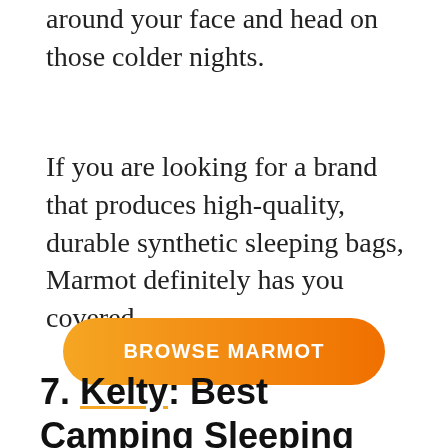around your face and head on those colder nights.
If you are looking for a brand that produces high-quality, durable synthetic sleeping bags, Marmot definitely has you covered.
[Figure (other): Orange gradient pill-shaped button with white uppercase text reading BROWSE MARMOT]
7. Kelty: Best Camping Sleeping Bag Brand